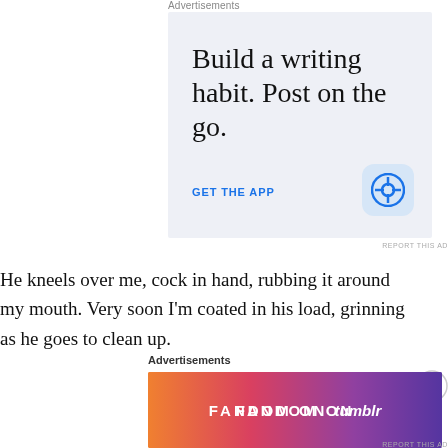Advertisements
[Figure (illustration): WordPress app advertisement with light blue-grey background. Large serif text reads 'Build a writing habit. Post on the go.' Blue link text 'GET THE APP' and WordPress circular logo icon on a light blue rounded square badge.]
REPORT THIS AD
He kneels over me, cock in hand, rubbing it around my mouth. Very soon I'm coated in his load, grinning as he goes to clean up.
Advertisements
[Figure (illustration): Tumblr Fandom advertisement banner with colorful gradient background (orange to purple) with white text 'FANDOM ON tumblr' and decorative pattern elements.]